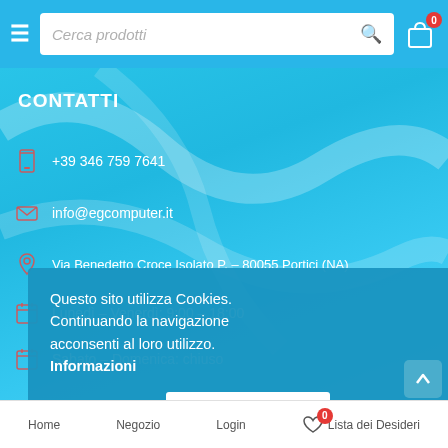Cerca prodotti
CONTATTI
+39 346 759 7641
info@egcomputer.it
Via Benedetto Croce Isolato P. – 80055 Portici (NA)
Lunedì – Venerdì: 9:00 – 18:00
Sabato – Domenica: chiuso
Questo sito utilizza Cookies. Continuando la navigazione acconsenti al loro utilizzo. Informazioni
Accetto
Home   Negozio   Login   Lista dei Desideri